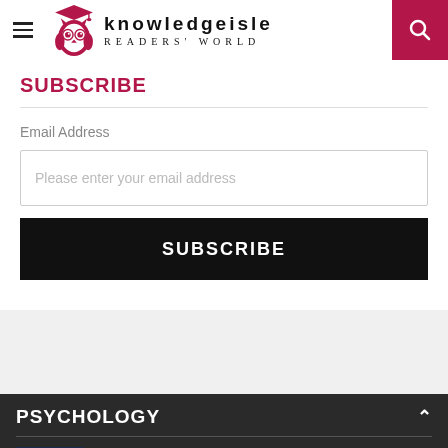knowledgeisle READERS' WORLD
SUBSCRIBE
Email Address
Please enter your email address
SUBSCRIBE
PSYCHOLOGY
Handbook of Nutrition, Diet, and Epigenetics